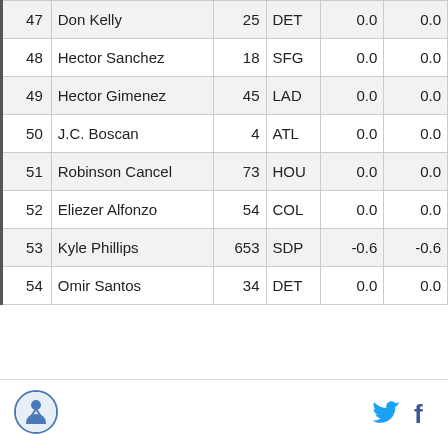| 47 | Don Kelly | 25 | DET | 0.0 | 0.0 |
| 48 | Hector Sanchez | 18 | SFG | 0.0 | 0.0 |
| 49 | Hector Gimenez | 45 | LAD | 0.0 | 0.0 |
| 50 | J.C. Boscan | 4 | ATL | 0.0 | 0.0 |
| 51 | Robinson Cancel | 73 | HOU | 0.0 | 0.0 |
| 52 | Eliezer Alfonzo | 54 | COL | 0.0 | 0.0 |
| 53 | Kyle Phillips | 653 | SDP | -0.6 | -0.6 |
| 54 | Omir Santos | 34 | DET | 0.0 | 0.0 |
[Figure (logo): Round logo with figure icon in footer]